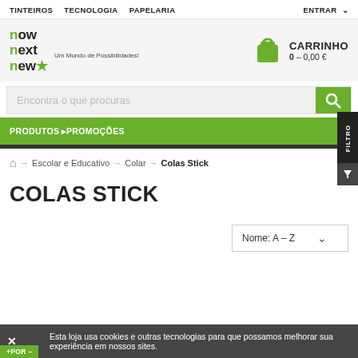TINTEIROS  TECNOLOGIA  PAPELARIA  ENTRAR
[Figure (logo): now next new star logo with tagline 'Um Mundo de Possibilidades!']
CARRINHO 0 – 0,00 €
Encontra o que procuras
PRODUTOS PROMOÇÕES
🏠 → Escolar e Educativo → Colar → Colas Stick
COLAS STICK
Nome: A – Z
Esta loja usa cookies e outras tecnologias para que possamos melhorar sua experiência em nossos sites.